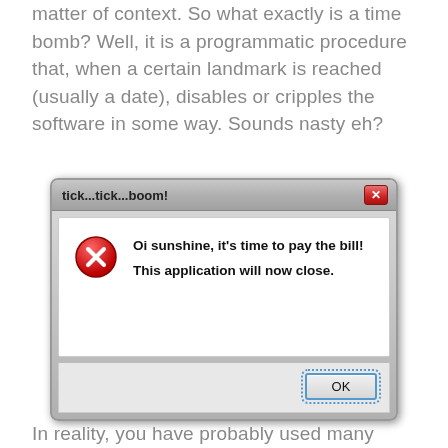matter of context. So what exactly is a time bomb? Well, it is a programmatic procedure that, when a certain landmark is reached (usually a date), disables or cripples the software in some way. Sounds nasty eh?
[Figure (screenshot): A Windows-style dialog box titled 'tick...tick...boom!' with a red X close button. Inside, there is a red error icon and two bold lines of text: 'Oi sunshine, it's time to pay the bill!' and 'This application will now close.' At the bottom is an OK button with a dotted blue border.]
In reality, you have probably used many